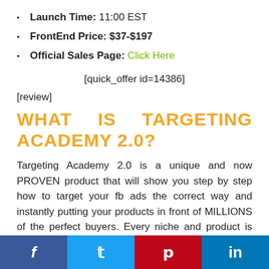Launch Time: 11:00 EST
FrontEnd Price: $37-$197
Official Sales Page: Click Here
[quick_offer id=14386]
[review]
WHAT IS TARGETING ACADEMY 2.0?
Targeting Academy 2.0 is a unique and now PROVEN product that will show you step by step how to target your fb ads the correct way and instantly putting your products in front of MILLIONS of the perfect buyers. Every niche and product is covered; ecom products, t-shirts, POD, local business, affiliate
f  t  p  in